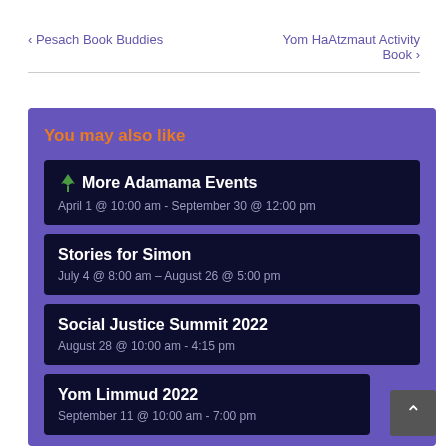‹ Pesach Book Buddies    Yom HaAtzmaut Activity Book ›
You may also like
More Adamama Events
April 1 @ 10:00 am - September 30 @ 12:00 pm
Stories for Simon
July 4 @ 8:00 am - August 26 @ 5:00 pm
Social Justice Summit 2022
August 28 @ 10:00 am - 4:15 pm
Yom Limmud 2022
September 11 @ 10:00 am - 7:00 pm